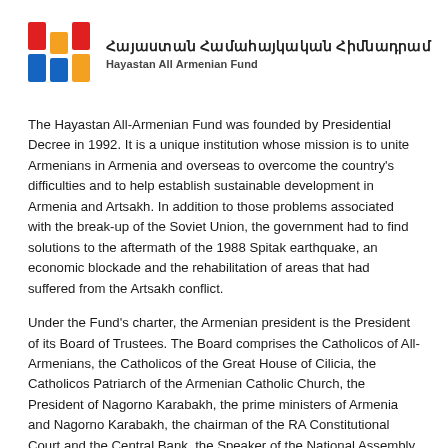[Figure (logo): Hayastan All Armenian Fund logo with colored flag-inspired blocks and bilingual text in Armenian and English]
The Hayastan All-Armenian Fund was founded by Presidential Decree in 1992. It is a unique institution whose mission is to unite Armenians in Armenia and overseas to overcome the country's difficulties and to help establish sustainable development in Armenia and Artsakh. In addition to those problems associated with the break-up of the Soviet Union, the government had to find solutions to the aftermath of the 1988 Spitak earthquake, an economic blockade and the rehabilitation of areas that had suffered from the Artsakh conflict.
Under the Fund's charter, the Armenian president is the President of its Board of Trustees. The Board comprises the Catholicos of All-Armenians, the Catholicos of the Great House of Cilicia, the Catholicos Patriarch of the Armenian Catholic Church, the President of Nagorno Karabakh, the prime ministers of Armenia and Nagorno Karabakh, the chairman of the RA Constitutional Court and the Central Bank, the Speaker of the National Assembly, the heads of the three main Armenian political parties…